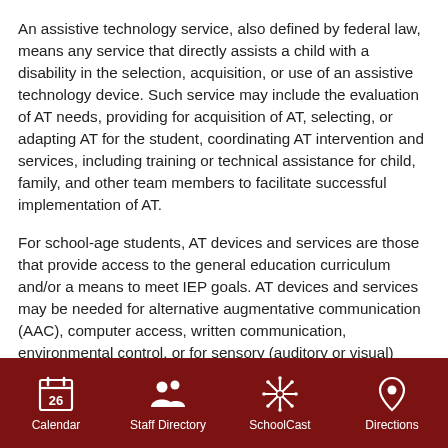An assistive technology service, also defined by federal law, means any service that directly assists a child with a disability in the selection, acquisition, or use of an assistive technology device. Such service may include the evaluation of AT needs, providing for acquisition of AT, selecting, or adapting AT for the student, coordinating AT intervention and services, including training or technical assistance for child, family, and other team members to facilitate successful implementation of AT.
For school-age students, AT devices and services are those that provide access to the general education curriculum and/or a means to meet IEP goals. AT devices and services may be needed for alternative augmentative communication (AAC), computer access, written communication, environmental control, or for sensory (auditory or visual) access. AT may encompass both hi-tech and low-tech solutions and allows many students with disabilities to function effectively in the general education curriculum and to meet their educational goals.
Calendar | Staff Directory | SchoolCast | Directions